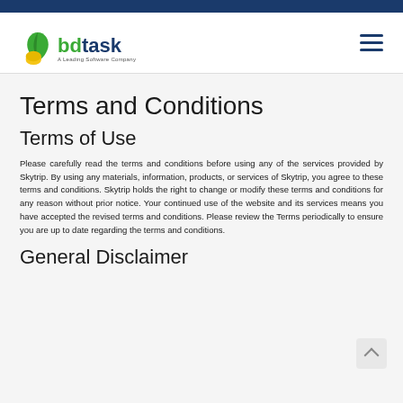bdtask — A Leading Software Company
Terms and Conditions
Terms of Use
Please carefully read the terms and conditions before using any of the services provided by Skytrip. By using any materials, information, products, or services of Skytrip, you agree to these terms and conditions. Skytrip holds the right to change or modify these terms and conditions for any reason without prior notice. Your continued use of the website and its services means you have accepted the revised terms and conditions. Please review the Terms periodically to ensure you are up to date regarding the terms and conditions.
General Disclaimer